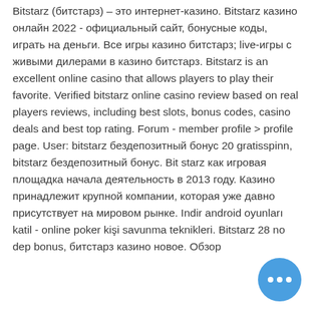Bitstarz (битстарз) – это интернет-казино. Bitstarz казино онлайн 2022 - официальный сайт, бонусные коды, играть на деньги. Все игры казино битстарз; live-игры с живыми дилерами в казино битстарз. Bitstarz is an excellent online casino that allows players to play their favorite. Verified bitstarz online casino review based on real players reviews, including best slots, bonus codes, casino deals and best top rating. Forum - member profile &gt; profile page. User: bitstarz бездепозитный бонус 20 gratisspinn, bitstarz бездепозитный бонус. Bit starz как игровая площадка начала деятельность в 2013 году. Казино принадлежит крупной компании, которая уже давно присутствует на мировом рынке. Indir android oyunları katil - online poker kişi savunma teknikleri. Bitstarz 28 no dep bonus, битстарз казино новое. Обзор